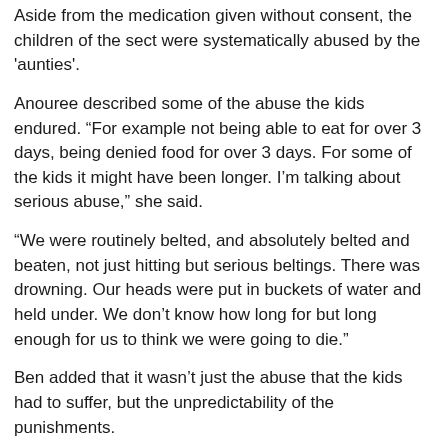Aside from the medication given without consent, the children of the sect were systematically abused by the 'aunties'.
Anouree described some of the abuse the kids endured. “For example not being able to eat for over 3 days, being denied food for over 3 days. For some of the kids it might have been longer. I’m talking about serious abuse,” she said.
“We were routinely belted, and absolutely belted and beaten, not just hitting but serious beltings. There was drowning. Our heads were put in buckets of water and held under. We don’t know how long for but long enough for us to think we were going to die.”
Ben added that it wasn’t just the abuse that the kids had to suffer, but the unpredictability of the punishments.
“My way of functioning was to try and control the environment that I was in, to stop people from disobeying the rules. Just to bring some order and predictability to life,” he said, adding “I was very compliant”.